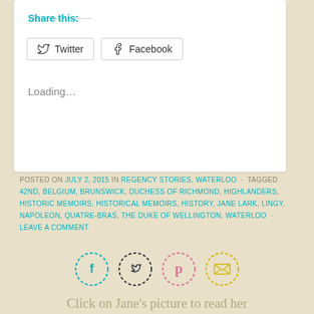Share this:
Twitter  Facebook
Loading...
POSTED ON JULY 2, 2015 IN REGENCY STORIES, WATERLOO · TAGGED 42ND, BELGIUM, BRUNSWICK, DUCHESS OF RICHMOND, HIGHLANDERS, HISTORIC MEMOIRS, HISTORICAL MEMOIRS, HISTORY, JANE LARK, LINGY, NAPOLEON, QUATRE-BRAS, THE DUKE OF WELLINGTON, WATERLOO · LEAVE A COMMENT
[Figure (infographic): Four circular dashed social media icons: Facebook (teal dashed), Twitter (dark dashed), Pinterest (pink dashed), Email/envelope (yellow dashed)]
Click on Jane's picture to read her